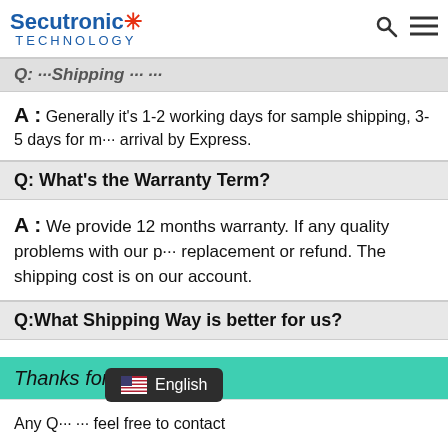Secutronic Technology
Q: What's the Warranty Term?
A: We provide 12 months warranty. If any quality problems with our products, we offer replacement or refund. The shipping cost is on our account.
Q:What Shipping Way is better for us?
A: For small order, express will be the best, it is fast and convenient for you. Air is better but you need collect them from Airport. For urgent orders, we suggest air to door directly. And we can get you good price with DHL, UPS, Fedex or TNT.
Thanks for your visiting
Any Q... feel free to contact